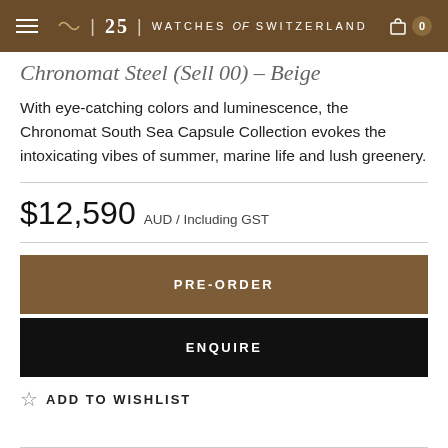Watches of Switzerland — 25 years
Chronomat Steel (Sell 00) – Beige
With eye-catching colors and luminescence, the Chronomat South Sea Capsule Collection evokes the intoxicating vibes of summer, marine life and lush greenery.
$12,590 AUD / Including GST
PRE-ORDER
ENQUIRE
ADD TO WISHLIST